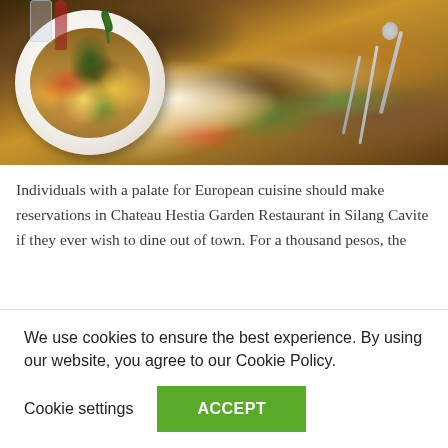[Figure (photo): A restaurant table with a white plate of food featuring vegetables, meat, potatoes and a rosemary garnish, set on a wooden dining table with cutlery (fork, knife, spoon) visible to the right, warm ambient lighting]
Individuals with a palate for European cuisine should make reservations in Chateau Hestia Garden Restaurant in Silang Cavite if they ever wish to dine out of town. For a thousand pesos, the
We use cookies to ensure the best experience. By using our website, you agree to our Cookie Policy.
Cookie settings   ACCEPT